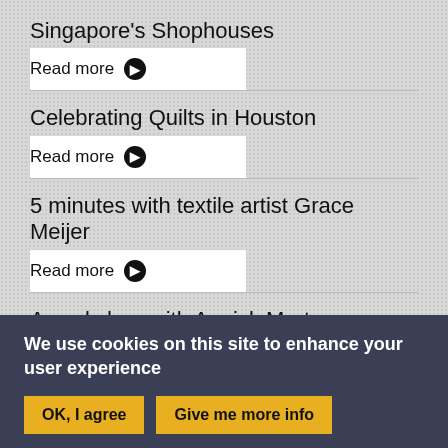Singapore's Shophouses
Read more ▶
Celebrating Quilts in Houston
Read more ▶
5 minutes with textile artist Grace Meijer
Read more ▶
A workshop with Annick Mertens
Read more ▶
We use cookies on this site to enhance your user experience
OK, I agree
Give me more info